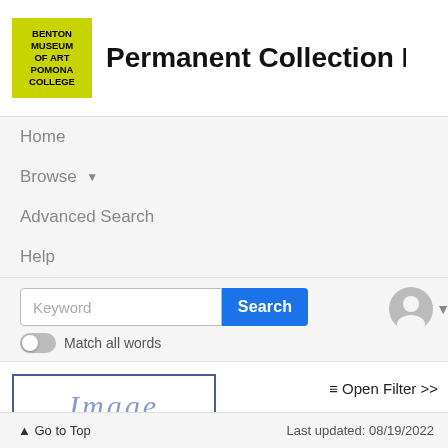[Figure (logo): Benton Museum of Art Pomona College logo — yellow-green square with bold black text]
Permanent Collection Databa
Home
Browse ▾
Advanced Search
Help
Keyword [Search button] Match all words
≡ Open Filter >>
[Figure (other): Image placeholder box with italic 'Image' text]
▲ Go to Top    Last updated: 08/19/2022